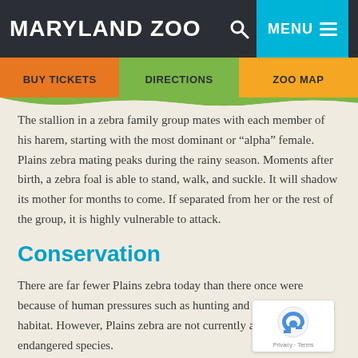MARYLAND ZOO
The stallion in a zebra family group mates with each member of his harem, starting with the most dominant or “alpha” female. Plains zebra mating peaks during the rainy season. Moments after birth, a zebra foal is able to stand, walk, and suckle. It will shadow its mother for months to come. If separated from her or the rest of the group, it is highly vulnerable to attack.
Conservation
There are far fewer Plains zebra today than there once were because of human pressures such as hunting and encroachment on habitat. However, Plains zebra are not currently a threatened or endangered species.